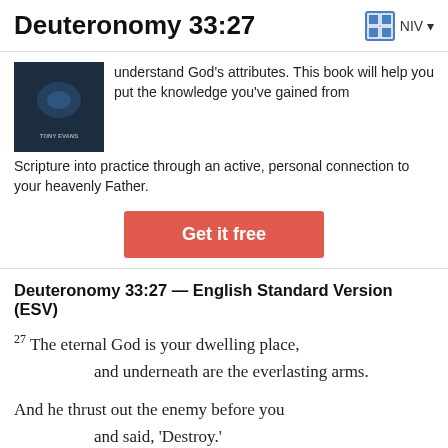Deuteronomy 33:27 NIV
understand God's attributes. This book will help you put the knowledge you've gained from Scripture into practice through an active, personal connection to your heavenly Father.
Get it free
Deuteronomy 33:27 — English Standard Version (ESV)
27 The eternal God is your dwelling place, and underneath are the everlasting arms. And he thrust out the enemy before you and said, 'Destroy.'